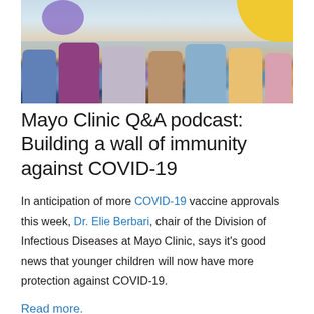[Figure (photo): Group of children and young people sitting cross-legged on a floor, seen from the waist down, wearing colorful clothing]
Mayo Clinic Q&A podcast: Building a wall of immunity against COVID-19
In anticipation of more COVID-19 vaccine approvals this week, Dr. Elie Berbari, chair of the Division of Infectious Diseases at Mayo Clinic, says it's good news that younger children will now have more protection against COVID-19.
Read more.